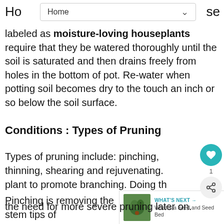Ho ... se
labeled as moisture-loving houseplants require that they be watered thoroughly until the soil is saturated and then drains freely from holes in the bottom of pot. Re-water when potting soil becomes dry to the touch an inch or so below the soil surface.
Conditions : Types of Pruning
Types of pruning include: pinching, thinning, shearing and rejuvenating.
Pinching is removing the stem tips of plant to promote branching. Doing th... the need for more severe pruning later on.